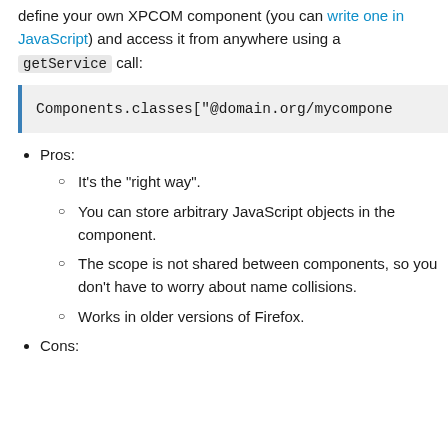define your own XPCOM component (you can write one in JavaScript) and access it from anywhere using a getService call:
Components.classes["@domain.org/mycompone
Pros:
It's the "right way".
You can store arbitrary JavaScript objects in the component.
The scope is not shared between components, so you don't have to worry about name collisions.
Works in older versions of Firefox.
Cons: